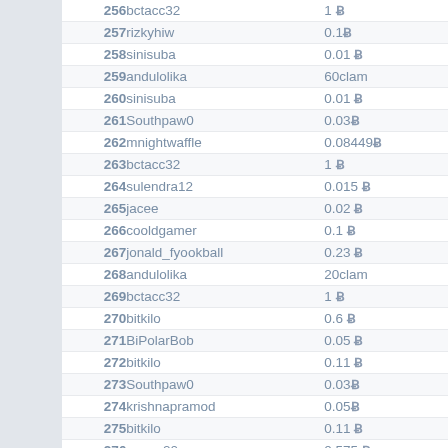| # | User | Amount |
| --- | --- | --- |
| 256 | bctacc32 | 1 ₿ |
| 257 | rizkyhiw | 0.1₿ |
| 258 | sinisuba | 0.01 ₿ |
| 259 | andulolika | 60clam |
| 260 | sinisuba | 0.01 ₿ |
| 261 | Southpaw0 | 0.03₿ |
| 262 | mnightwaffle | 0.08449₿ |
| 263 | bctacc32 | 1 ₿ |
| 264 | sulendra12 | 0.015 ₿ |
| 265 | jacee | 0.02 ₿ |
| 266 | cooldgamer | 0.1 ₿ |
| 267 | jonald_fyookball | 0.23 ₿ |
| 268 | andulolika | 20clam |
| 269 | bctacc32 | 1 ₿ |
| 270 | bitkilo | 0.6 ₿ |
| 271 | BiPolarBob | 0.05 ₿ |
| 272 | bitkilo | 0.11 ₿ |
| 273 | Southpaw0 | 0.03₿ |
| 274 | krishnapramod | 0.05₿ |
| 275 | bitkilo | 0.11 ₿ |
| 276 | goose20 | 0.575 ₿ |
| 277 | bitkilo | 0.65 ₿ |